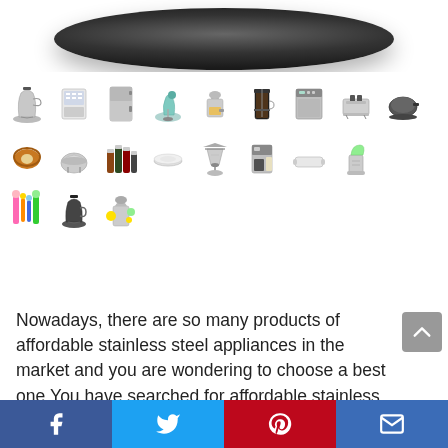[Figure (photo): Bottom of a black round pan/appliance visible at top of page]
[Figure (photo): Grid of small kitchen appliance product images: kettles, ice maker, mini fridge, stand mixer, juicer, french press, dishwasher, toaster, electric skillet, bagel, rice cooker, spice bottles, plate, pour-over, coffee maker, tray, blender, kitchen tools set, kettle, juicer with fruits]
Nowadays, there are so many products of affordable stainless steel appliances in the market and you are wondering to choose a best one.You have searched for affordable stainless steel appliances in many merchants, compared about products prices & reviews before deciding to buy them.
Facebook | Twitter | Pinterest | Email